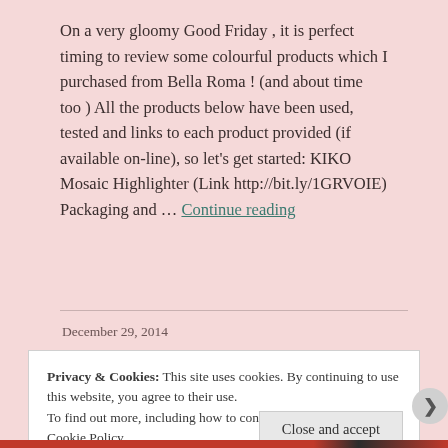On a very gloomy Good Friday , it is perfect timing to review some colourful products which I purchased from Bella Roma ! (and about time too ) All the products below have been used, tested and links to each product provided (if available on-line), so let's get started: KIKO Mosaic Highlighter (Link http://bit.ly/1GRVOIE) Packaging and … Continue reading
December 29, 2014
Privacy & Cookies: This site uses cookies. By continuing to use this website, you agree to their use.
To find out more, including how to control cookies, see here:
Cookie Policy